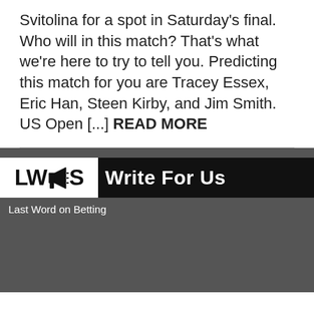Svitolina for a spot in Saturday's final. Who will in this match? That's what we're here to try to tell you. Predicting this match for you are Tracey Essex, Eric Han, Steen Kirby, and Jim Smith. US Open [...] READ MORE
[Figure (logo): LWS megaphone logo with 'Write For Us' banner on dark background]
Last Word on Betting